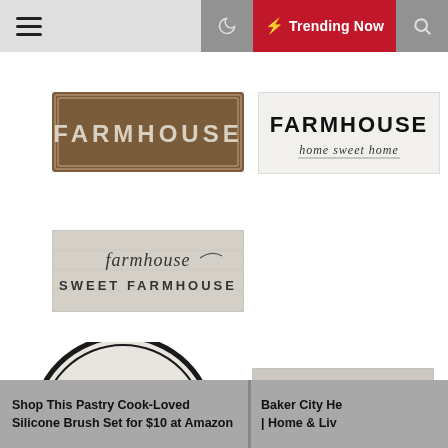☰  🌙  ⚡ Trending Now  🔍
[Figure (photo): Dark brown metal FARMHOUSE sign with white block letters and border]
[Figure (photo): White FARMHOUSE home sweet home sign with black serif letters on white background]
[Figure (photo): Gray wood farmhouse script sign reading 'farmhouse SWEET FARMHOUSE']
[Figure (photo): Circular FARMER'S Market sign with black ring border and script text]
[Figure (photo): LAUNDRY sign with large black letters on distressed wood background]
Shop This Pastry Cook-Loved Silicone Brush Set for $10 at Amazon
Baker City He | Home & Liv